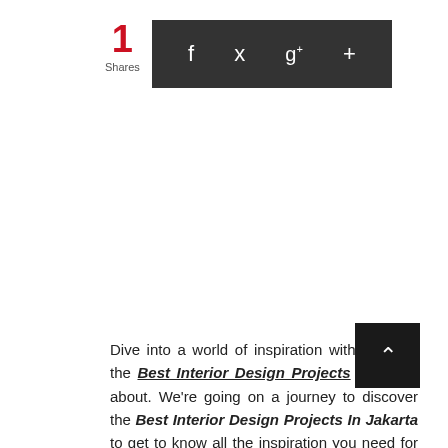1
Shares
[Figure (infographic): Social sharing bar with dark background containing Facebook (f), Twitter (bird icon), Google+ (g+), and Add (+) icons in white]
Dive into a world of inspiration with some of the Best Interior Design Projects we know about. We're going on a journey to discover the Best Interior Design Projects In Jakarta to get to know all the inspiration you need for next year!